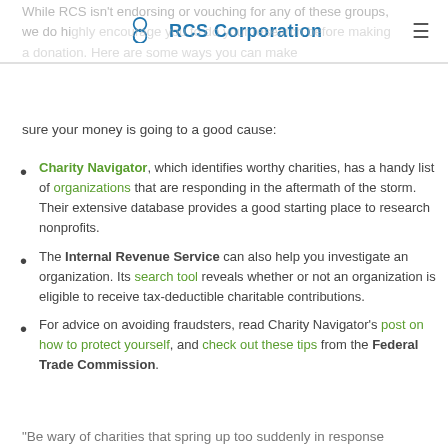RCS Corporation
While RCS isn't endorsing or vouching for any of these groups, we do highly encourage you to do your research before making a donation. Here are some ways you can make sure your money is going to a good cause:
Charity Navigator, which identifies worthy charities, has a handy list of organizations that are responding in the aftermath of the storm. Their extensive database provides a good starting place to research nonprofits.
The Internal Revenue Service can also help you investigate an organization. Its search tool reveals whether or not an organization is eligible to receive tax-deductible charitable contributions.
For advice on avoiding fraudsters, read Charity Navigator's post on how to protect yourself, and check out these tips from the Federal Trade Commission.
"Be wary of charities that spring up too suddenly in response